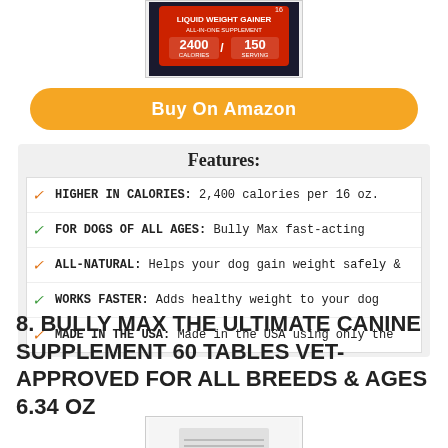[Figure (photo): Product image of Bully Max Liquid Weight Gainer supplement, 16 oz, 2400 calories per 150 serving, shown in a bordered image box]
Buy On Amazon
Features:
HIGHER IN CALORIES: 2,400 calories per 16 oz.
FOR DOGS OF ALL AGES: Bully Max fast-acting
ALL-NATURAL: Helps your dog gain weight safely &
WORKS FASTER: Adds healthy weight to your dog
MADE IN THE USA: Made in the USA using only the
8. BULLY MAX THE ULTIMATE CANINE SUPPLEMENT 60 TABLES VET-APPROVED FOR ALL BREEDS & AGES 6.34 OZ
[Figure (photo): Bottom portion of a product image, partially visible at the bottom of the page]